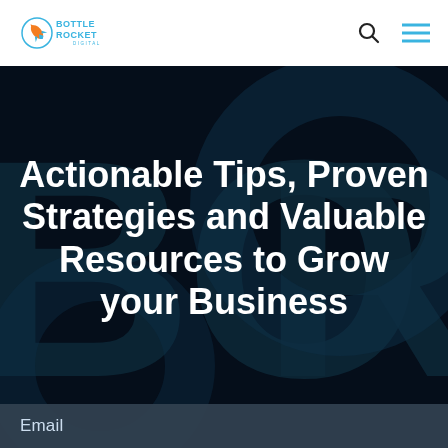[Figure (logo): Bottle Rocket Digital logo - circular rocket icon in blue/orange with 'BOTTLE ROCKET DIGITAL' text]
[Figure (infographic): Dark navy hero banner with large faint 'BOR' letters as background watermark. Contains white bold headline text and an email input bar at the bottom.]
Actionable Tips, Proven Strategies and Valuable Resources to Grow your Business
Email